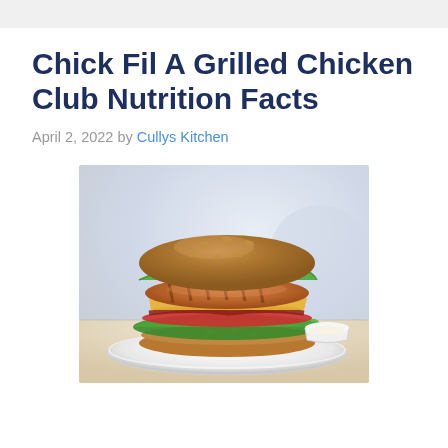Chick Fil A Grilled Chicken Club Nutrition Facts
April 2, 2022 by Cullys Kitchen
[Figure (photo): A grilled chicken club sandwich on a sesame seed bun with lettuce, tomato, bacon, and cheese, served on a white plate with a small cup of dipping sauce, on a light wooden surface with blurred background.]